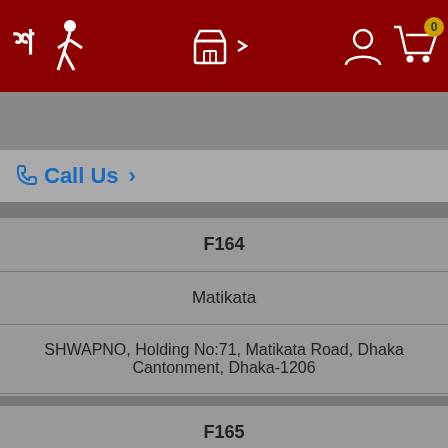[Figure (screenshot): Top navigation bar with Shwapno logo (red background), store icon with arrow, user account icon, and shopping cart icon with badge showing 0]
[Figure (screenshot): Search bar with hamburger menu icon on the left and search input field with magnifier icon]
Call Us >
F164
Matikata
SHWAPNO, Holding No:71, Matikata Road, Dhaka Cantonment, Dhaka-1206
Call 16469 For Respective Outlets Manager's Contact No.
F165